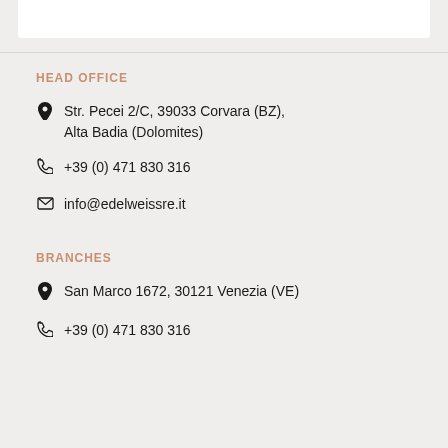HEAD OFFICE
Str. Pecei 2/C, 39033 Corvara (BZ), Alta Badia (Dolomites)
+39 (0) 471 830 316
info@edelweissre.it
BRANCHES
San Marco 1672, 30121 Venezia (VE)
+39 (0) 471 830 316